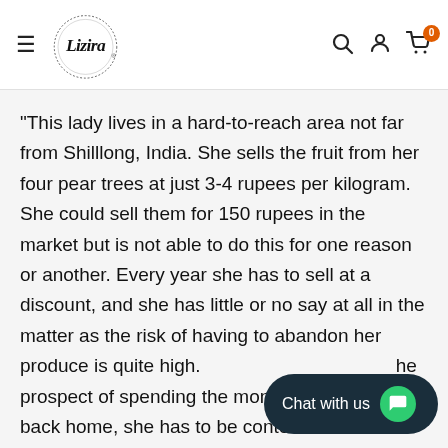[Figure (logo): Lizira brand logo with circular dotted border]
"This lady lives in a hard-to-reach area not far from Shilllong, India. She sells the fruit from her four pear trees at just 3-4 rupees per kilogram. She could sell them for 150 rupees in the market but is not able to do this for one reason or another. Every year she has to sell at a discount, and she has little or no say at all in the matter as the risk of having to abandon her produce is quite high. ...the prospect of spending the money t... fruits back home, she has to be content with a